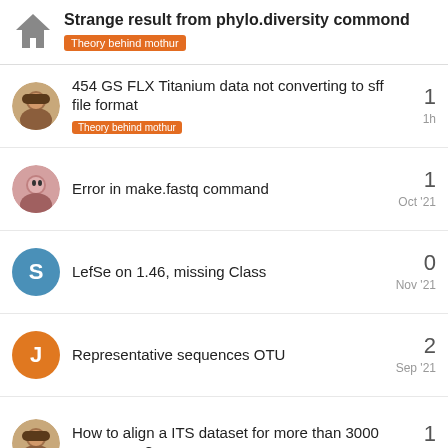Strange result from phylo.diversity commond — Theory behind mothur
454 GS FLX Titanium data not converting to sff file format — Theory behind mothur — 1 — 1h
Error in make.fastq command — 1 — Oct '21
LefSe on 1.46, missing Class — 0 — Nov '21
Representative sequences OTU — 2 — Sep '21
How to align a ITS dataset for more than 3000 sequences? — 1 — May 25
Want to read more? Browse other
3 / 3